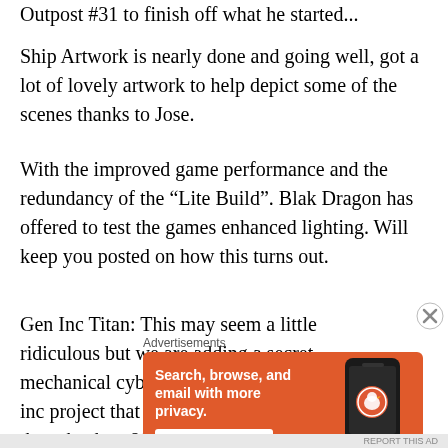Outpost #31 to finish off what he started...
Ship Artwork is nearly done and going well, got a lot of lovely artwork to help depict some of the scenes thanks to Jose.
With the improved game performance and the redundancy of the “Lite Build”. Blak Dragon has offered to test the games enhanced lighting. Will keep you posted on how this turns out.
Gen Inc Titan: This may seem a little ridiculous but we are adding a secret mechanical cybersuit into the game as a gen inc project that you have to fight. It’s a throwback to 80’s films like Terminator and Short Circuit and nothing to
[Figure (infographic): DuckDuckGo advertisement banner on orange background. Text: Search, browse, and email with more privacy. All in One Free App. Shows a smartphone with DuckDuckGo logo.]